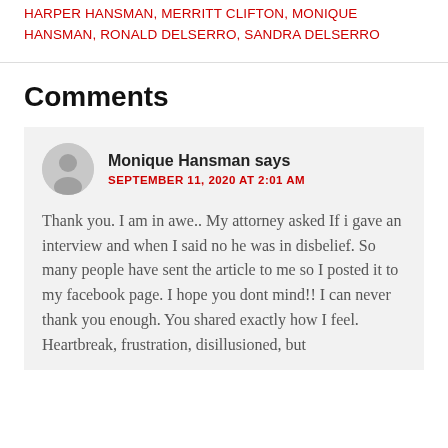HARPER HANSMAN, MERRITT CLIFTON, MONIQUE HANSMAN, RONALD DELSERRO, SANDRA DELSERRO
Comments
Monique Hansman says
SEPTEMBER 11, 2020 AT 2:01 AM
Thank you. I am in awe.. My attorney asked If i gave an interview and when I said no he was in disbelief. So many people have sent the article to me so I posted it to my facebook page. I hope you dont mind!! I can never thank you enough. You shared exactly how I feel. Heartbreak, frustration, disillusioned, but